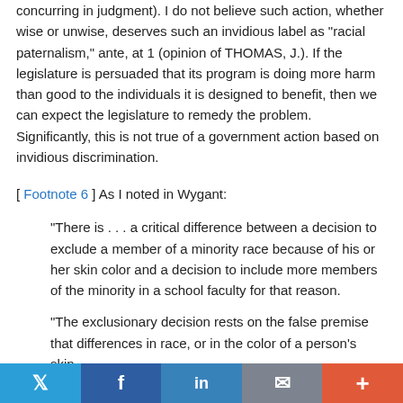concurring in judgment). I do not believe such action, whether wise or unwise, deserves such an invidious label as "racial paternalism," ante, at 1 (opinion of THOMAS, J.). If the legislature is persuaded that its program is doing more harm than good to the individuals it is designed to benefit, then we can expect the legislature to remedy the problem. Significantly, this is not true of a government action based on invidious discrimination.
[ Footnote 6 ] As I noted in Wygant:
"There is . . . a critical difference between a decision to exclude a member of a minority race because of his or her skin color and a decision to include more members of the minority in a school faculty for that reason.
"The exclusionary decision rests on the false premise that differences in race, or in the color of a person's skin,
Twitter  Facebook  in  Email  +